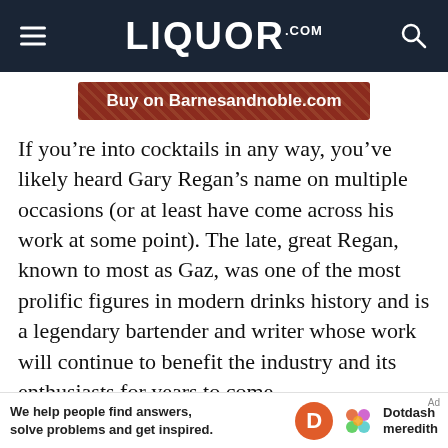LIQUOR.COM
[Figure (other): Buy on Barnesandnoble.com button with red background and diagonal pattern]
If you’re into cocktails in any way, you’ve likely heard Gary Regan’s name on multiple occasions (or at least have come across his work at some point). The late, great Regan, known to most as Gaz, was one of the most prolific figures in modern drinks history and is a legendary bartender and writer whose work will continue to benefit the industry and its enthusiasts for years to come.
This particular book, “The Bartender’s Bible,” is a
We help people find answers, solve problems and get inspired. Dotdash meredith